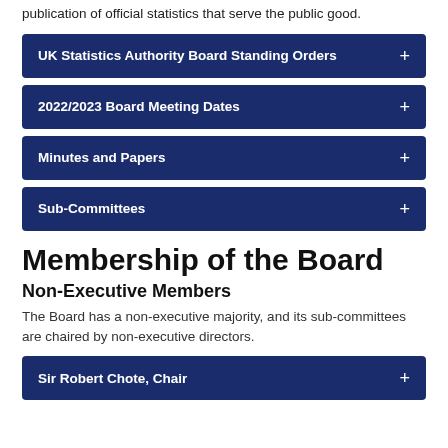publication of official statistics that serve the public good.
UK Statistics Authority Board Standing Orders +
2022/2023 Board Meeting Dates +
Minutes and Papers +
Sub-Committees +
Membership of the Board
Non-Executive Members
The Board has a non-executive majority, and its sub-committees are chaired by non-executive directors.
Sir Robert Chote, Chair +